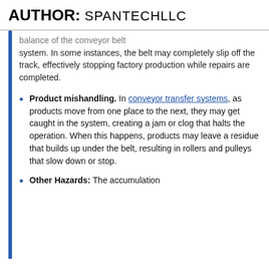AUTHOR: SPANTECHLLC
balance of the conveyor belt system. In some instances, the belt may completely slip off the track, effectively stopping factory production while repairs are completed.
Product mishandling. In conveyor transfer systems, as products move from one place to the next, they may get caught in the system, creating a jam or clog that halts the operation. When this happens, products may leave a residue that builds up under the belt, resulting in rollers and pulleys that slow down or stop.
Other Hazards: The accumulation...